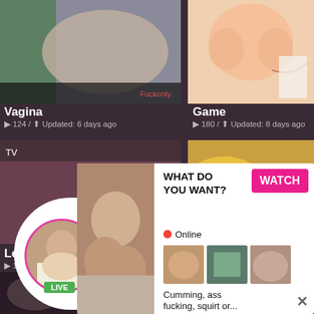[Figure (photo): Adult content thumbnail - top left]
Vagina
🎬 124 / ⬆ Updated: 6 days ago
[Figure (illustration): Adult animation thumbnail - top right]
Game
🎬 180 / ⬆ Updated: 8 days ago
[Figure (photo): Adult content thumbnail - middle left]
Leg
🎬 12...
[Figure (photo): Bananas thumbnail - middle right]
[Figure (infographic): Live ad popup: Jeniffer 2000 LIVE ADS (00:12)]
[Figure (infographic): Bottom ad popup: WHAT DO YOU WANT? WATCH button, Online, thumbnails, Cumming ass fucking squirt or... ADS]